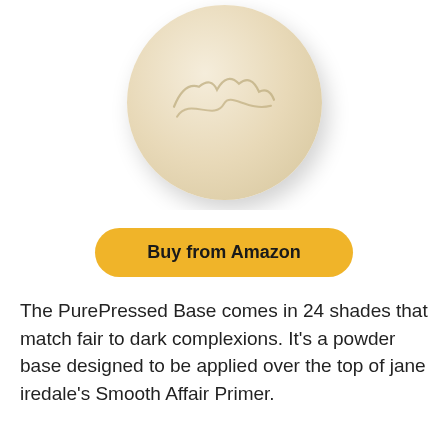[Figure (photo): A circular pressed powder compact with embossed cursive 'Jane' logo in a cream/beige color, with a soft drop shadow, shown from above.]
Buy from Amazon
The PurePressed Base comes in 24 shades that match fair to dark complexions. It's a powder base designed to be applied over the top of jane iredale's Smooth Affair Primer.